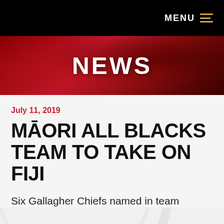MENU
[Figure (illustration): Red decorative banner with Maori-style patterns and the word NEWS in white bold text]
July 11, 2019
MĀORI ALL BLACKS TEAM TO TAKE ON FIJI
Six Gallagher Chiefs named in team